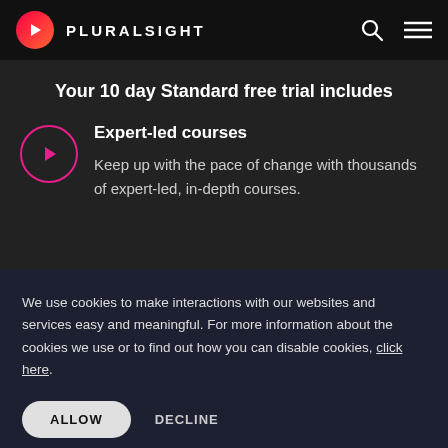PLURALSIGHT
Your 10 day Standard free trial includes
Expert-led courses
Keep up with the pace of change with thousands of expert-led, in-depth courses.
We use cookies to make interactions with our websites and services easy and meaningful. For more information about the cookies we use or to find out how you can disable cookies, click here.
ALLOW
DECLINE